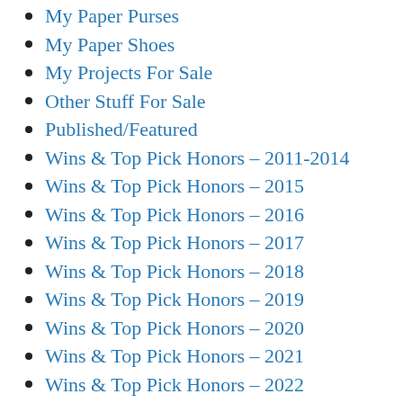My Paper Purses
My Paper Shoes
My Projects For Sale
Other Stuff For Sale
Published/Featured
Wins & Top Pick Honors – 2011-2014
Wins & Top Pick Honors – 2015
Wins & Top Pick Honors – 2016
Wins & Top Pick Honors – 2017
Wins & Top Pick Honors – 2018
Wins & Top Pick Honors – 2019
Wins & Top Pick Honors – 2020
Wins & Top Pick Honors – 2021
Wins & Top Pick Honors – 2022